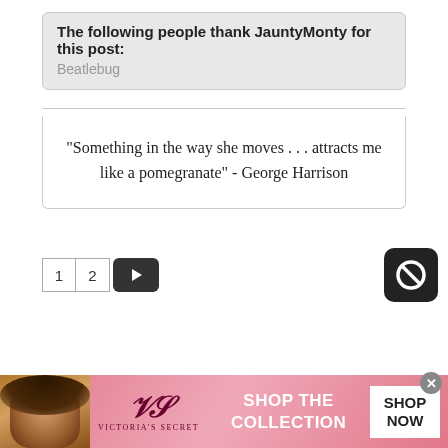The following people thank JauntyMonty for this post: Beatlebug
"Something in the way she moves . . . attracts me like a pomegranate" - George Harrison
[Figure (screenshot): Pagination controls: page 1 button, page 2 button, play/next button (black rounded rectangle with right-pointing triangle)]
[Figure (screenshot): Block/ban icon: black rounded square with a prohibition circle symbol]
[Figure (screenshot): Victoria's Secret advertisement banner with model photo, VS logo, 'SHOP THE COLLECTION' text, and 'SHOP NOW' button]